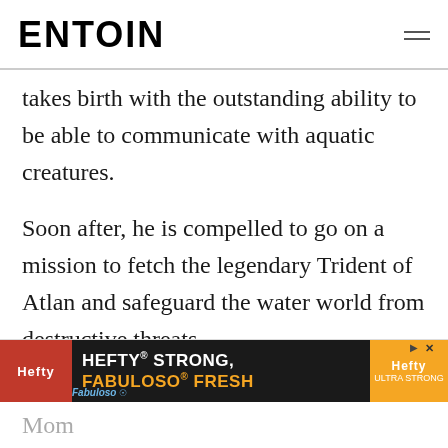ENTOIN
takes birth with the outstanding ability to be able to communicate with aquatic creatures.
Soon after, he is compelled to go on a mission to fetch the legendary Trident of Atlan and safeguard the water world from destructive threats.
This superhero underwater feature film has been helmed by James Wan and stars Jason
[Figure (other): Advertisement banner for Hefty brand: 'HEFTY STRONG, FABULOSO FRESH' with orange and dark background]
Mom... ...ick